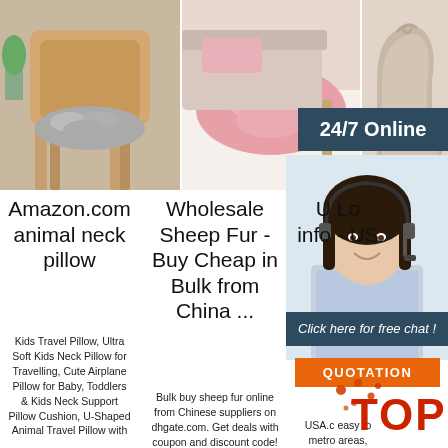[Figure (photo): Fluffy gray sheepskin cushion on a wooden chair]
[Figure (photo): Pink fluffy sheepskin rug on a chair/table]
[Figure (photo): Beige/tan winter boot with bow]
24/7 Online
[Figure (photo): Customer service representative woman wearing headset, smiling]
Click here for free chat !
QUOTATION
Amazon.com animal neck pillow
Kids Travel Pillow, Ultra Soft Kids Neck Pillow for Travelling, Cute Airplane Pillow for Baby, Toddlers & Kids Neck Support Pillow Cushion, U-Shaped Animal Travel Pillow with
Wholesale Sheep Fur - Buy Cheap in Bulk from China ...
Bulk buy sheep fur online from Chinese suppliers on dhgate.com. Get deals with coupon and discount code!
U Lo info - US
USA.c easy to metro areas, counties, cities, zip codes, and area codes information including population, races,
[Figure (other): TOP watermark with orange dots]